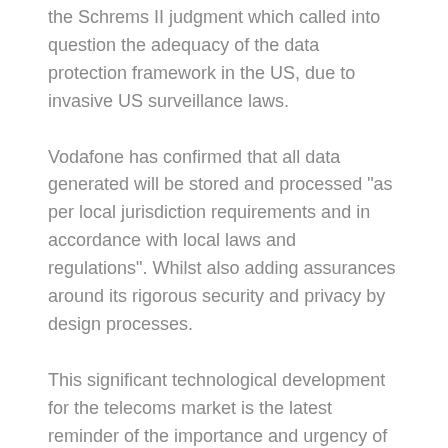the Schrems II judgment which called into question the adequacy of the data protection framework in the US, due to invasive US surveillance laws.
Vodafone has confirmed that all data generated will be stored and processed "as per local jurisdiction requirements and in accordance with local laws and regulations". Whilst also adding assurances around its rigorous security and privacy by design processes.
This significant technological development for the telecoms market is the latest reminder of the importance and urgency of resolving the US data flow issues that have arisen following the Schrems II judgment.
Link to related